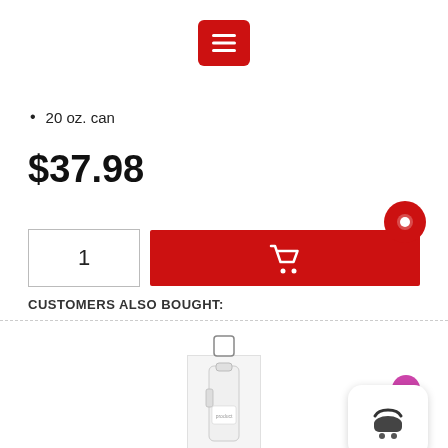[Figure (other): Red hamburger menu button icon]
20 oz. can
$37.98
[Figure (other): Quantity box with value 1, red add-to-cart button with shopping cart icon, red chat bubble icon top right]
CUSTOMERS ALSO BOUGHT:
[Figure (other): Checkbox, product image (white spray bottle), basket button with 0 count badge]